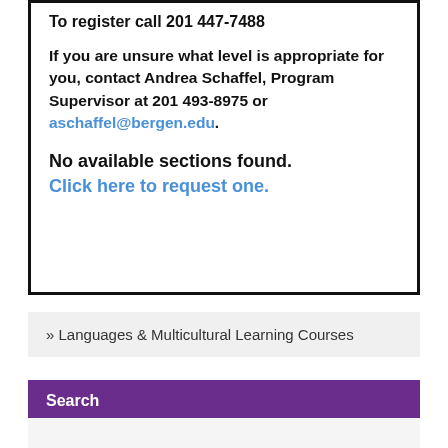To register call 201 447-7488
If you are unsure what level is appropriate for you, contact Andrea Schaffel, Program Supervisor at 201 493-8975 or aschaffel@bergen.edu.
No available sections found.
Click here to request one.
» Languages & Multicultural Learning Courses
Search